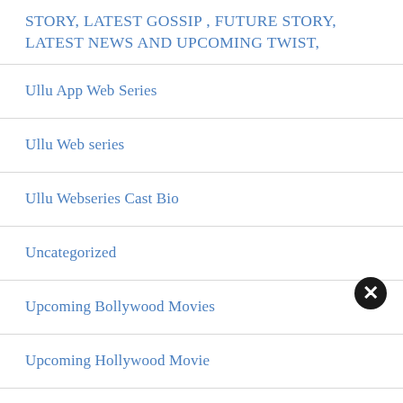STORY, LATEST GOSSIP , FUTURE STORY, LATEST NEWS AND UPCOMING TWIST,
Ullu App Web Series
Ullu Web series
Ullu Webseries Cast Bio
Uncategorized
Upcoming Bollywood Movies
Upcoming Hollywood Movie
WebSeries
WhatsApp Group